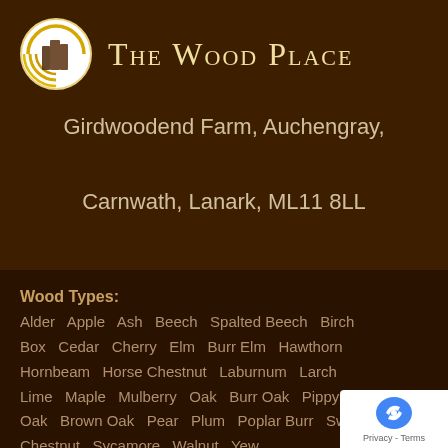[Figure (logo): The Wood Place circular logo with concentric rings and wood plank shapes in gold and white on brown background]
The Wood Place
Girdwoodend Farm, Auchengray,
Carnwath, Lanark, ML11 8LL
Wood Types: Alder  Apple  Ash  Beech  Spalted Beech  Birch  Box  Cedar  Cherry  Elm  Burr Elm  Hawthorn  Hornbeam  Horse Chestnut  Laburnum  Larch  Lime  Maple  Mulberry  Oak  Burr Oak  Pippy Oak  Brown Oak  Pear  Plum  Poplar Burr  Sw Chestnut  Sycamore  Walnut  Yew